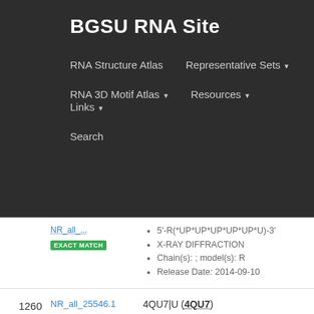BGSU RNA Site
RNA Structure Atlas | Representative Sets ▾ | RNA 3D Motif Atlas ▾ | Resources ▾ | Links ▾ | Search
| # | ID | Info |
| --- | --- | --- |
|  | NR_all_... (partial) | 5'-R(*UP*UP*UP*UP*UP*U)-3' | X-RAY DIFFRACTION | Chain(s): ; model(s): R | Release Date: 2014-09-10 |
| 1260 | NR_all_25546.1 EXACT MATCH synthetic construct | 4QU7|U (4QU7) RNA 5'-(*AP*GP*GP*GP*AP*UP)-3' X-RAY DIFFRACTION Chain(s): ; model(s): U Release Date: 2014-08-13 |
| 1261 | NR_all_26795.1 EXACT MATCH Escherichia coli | 3T5N|C (3T5N) RNA (5'-R(P*UP*AP*UP*CP*UP*C)-3') X-RAY DIFFRACTION Chain(s): ; model(s): C |